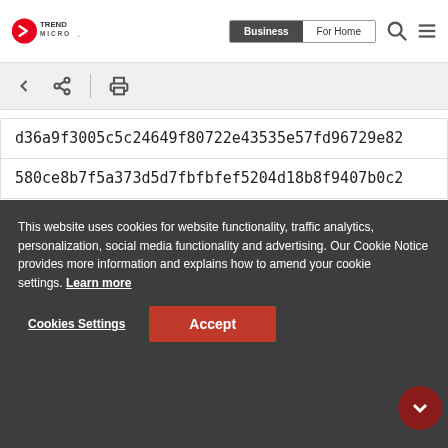Trend Micro — Business | For Home
d36a9f3005c5c24649f80722e43535e57fd96729e82...
580ce8b7f5a373d5d7fbfbfef5204d18b8f9407b0c2...
Tags
Articles, News, Reports | Ransomware | Research
Authors
Ieriz Nicolle Gonzalez
This website uses cookies for website functionality, traffic analytics, personalization, social media functionality and advertising. Our Cookie Notice provides more information and explains how to amend your cookie settings. Learn more